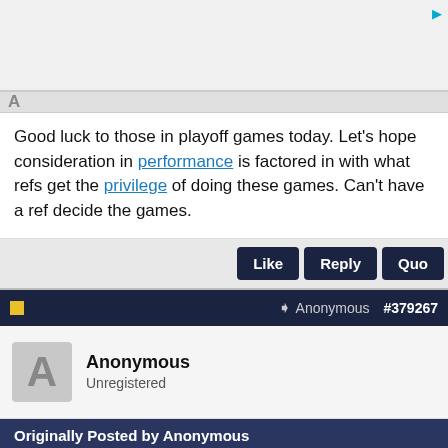[Figure (screenshot): Top advertisement banner area with ad indicator icon]
Good luck to those in playoff games today. Let's hope consideration in performance is factored in with what refs get the privilege of doing these games. Can't have a ref decide the games.
Like  Reply  Quo
Anonymous  #379267
Anonymous
Unregistered
Originally Posted by Anonymous
[Figure (screenshot): Aeropostale advertisement with clothing images, title AEROPOSTALE, description Shop Aeropostale for Guys and Girls Clothing, URL www.aeropostale.com, navigation arrow button]